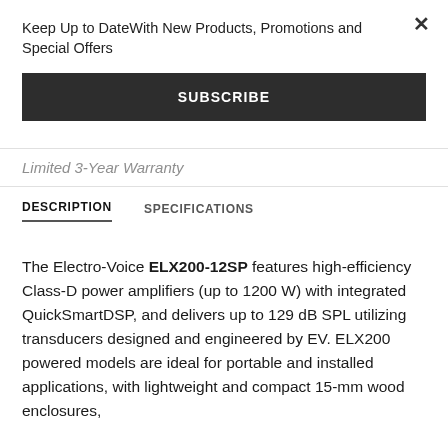Keep Up to DateWith New Products, Promotions and Special Offers
SUBSCRIBE
Limited 3-Year Warranty
DESCRIPTION
SPECIFICATIONS
The Electro-Voice ELX200-12SP features high-efficiency Class-D power amplifiers (up to 1200 W) with integrated QuickSmartDSP, and delivers up to 129 dB SPL utilizing transducers designed and engineered by EV. ELX200 powered models are ideal for portable and installed applications, with lightweight and compact 15-mm wood enclosures,